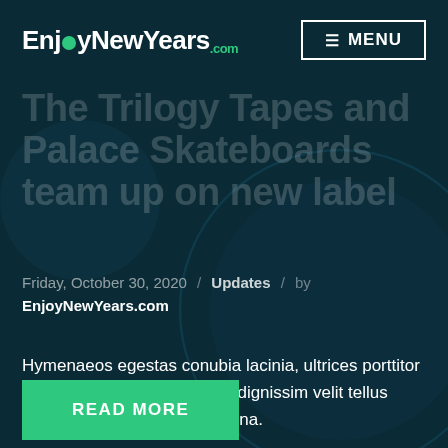EnjoyNewYears.com | MENU
The Trilogy Tapes and Palace Skateboards team up on new label
Friday, October 30, 2020 / Updates / by EnjoyNewYears.com
Hymenaeos egestas conubia lacinia, ultrices porttitor gravida nunc ultrices massa dignissim velit tellus ridiculus ante nonummy magna.
READ MORE